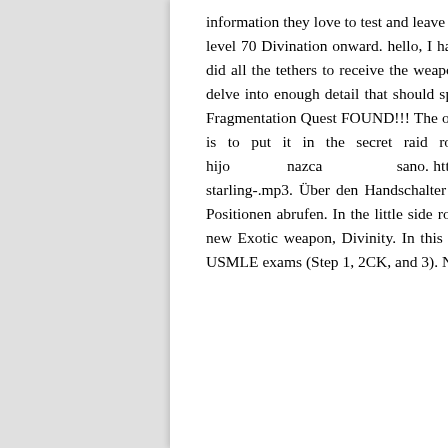information they love to test and leave out fluff. Vote. 21:23. Divination fragments may be obtained from level 70 Divination onward. hello, I had the "Divine Fragmentation, key to divinity" quest step, and we did all the tethers to receive the weapon and I didn't receive it, but everyone else in the fireteam did. I delve into enough detail that should specifically serve those studying for Step 2CK and Step 3. Divine Fragmentation Quest FOUND!!! The origin of fragmentation patterns. Posted by 1 year ago. - Final Step is to put it in the secret raid room at the beginning of the raid. Infórmate para que tu hijo nazca sano. https://divineinterventionpodcasts.files.wordpress.com/2020/08/253-starling-.mp3. Über den Handschalter mit Memory-Technik können Sie Ihre individuell gespeicherten Positionen abrufen. In the little side room, you'll find the oracle in the corner. Look no further than the new Exotic weapon, Divinity. In this episode, I review a topic that is floridly HY to know for all the USMLE exams (Step 1, 2CK, and 3). Need a hand with anything